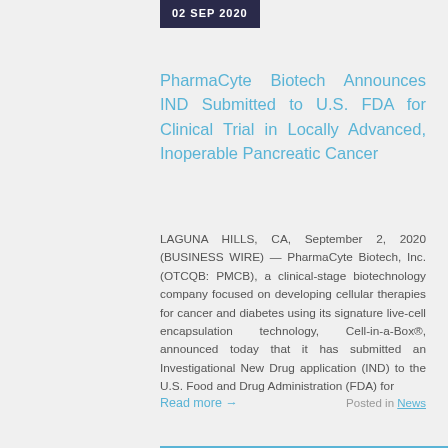02 SEP 2020
PharmaCyte Biotech Announces IND Submitted to U.S. FDA for Clinical Trial in Locally Advanced, Inoperable Pancreatic Cancer
LAGUNA HILLS, CA, September 2, 2020 (BUSINESS WIRE) — PharmaCyte Biotech, Inc. (OTCQB: PMCB), a clinical-stage biotechnology company focused on developing cellular therapies for cancer and diabetes using its signature live-cell encapsulation technology, Cell-in-a-Box®, announced today that it has submitted an Investigational New Drug application (IND) to the U.S. Food and Drug Administration (FDA) for
Read more →
Posted in News